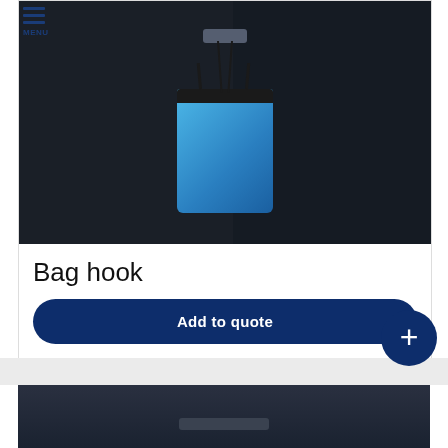[Figure (photo): Car interior showing a blue shopping bag hanging from a headrest hook mount in the back seat of a Volkswagen vehicle]
Bag hook
Add to quote
[Figure (photo): Partial view of a car interior dashboard area, showing overhead console]